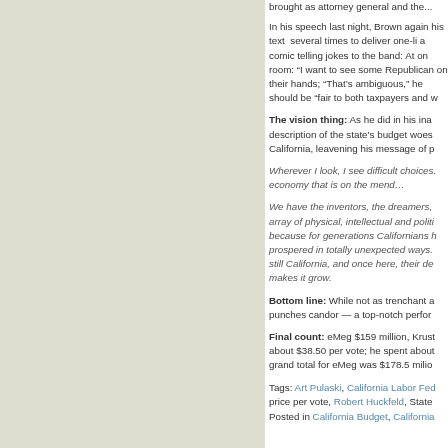brought as attorney general and the...
In his speech last night, Brown again his text several times to deliver one-li a comic telling jokes to the band: At on room: “I want to see some Republican on their hands; “That’s ambiguous,” he should be “fair to both taxpayers and w
The vision thing: As he did in his ina description of the state’s budget woes California, leavening his message of p
Wherever I look, I see difficult choices. economy that is on the mend…
We have the inventors, the dreamers, array of physical, intellectual and politi because for generations Californians h prospered in totally unexpected ways. still California, and once here, their de makes it grow.
Bottom line: While not as trenchant a punches candor — a top-notch perfor
Final count: eMeg $159 million, Krust about $38.50 per vote; he spent about grand total for eMeg was $178.5 milio
Tags: Art Pulaski, California Labor Fed price per vote, Robert Huckfeld, State
Posted in California Budget, California